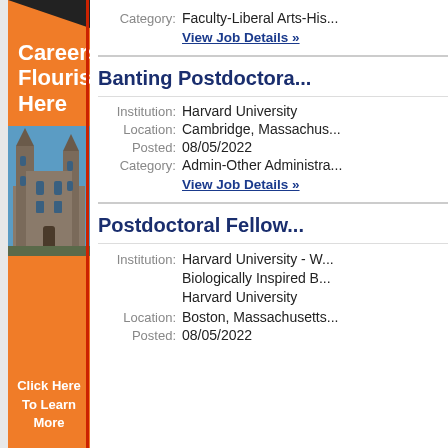[Figure (infographic): Orange sidebar banner with 'Careers Flourish Here' text, a photo of a Gothic university building, and 'Click Here To Learn More' call to action]
Category: Faculty-Liberal Arts-His...
View Job Details »
Banting Postdoctora...
Institution: Harvard University
Location: Cambridge, Massachus...
Posted: 08/05/2022
Category: Admin-Other Administra...
View Job Details »
Postdoctoral Fellow...
Institution: Harvard University - W... Biologically Inspired B... Harvard University
Location: Boston, Massachusetts...
Posted: 08/05/2022